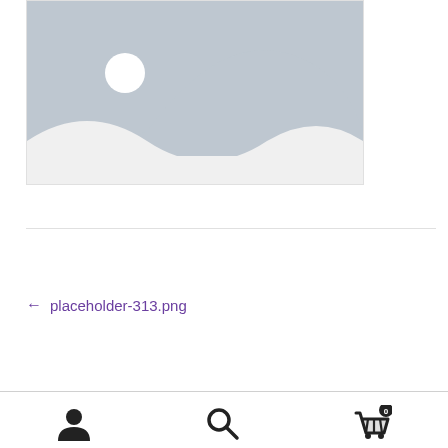[Figure (illustration): Placeholder image with grey mountain silhouette and white circle (sun/moon) on light background]
← placeholder-313.png
[Figure (other): Bottom navigation bar with user icon, search icon, and shopping cart icon with badge showing 0]